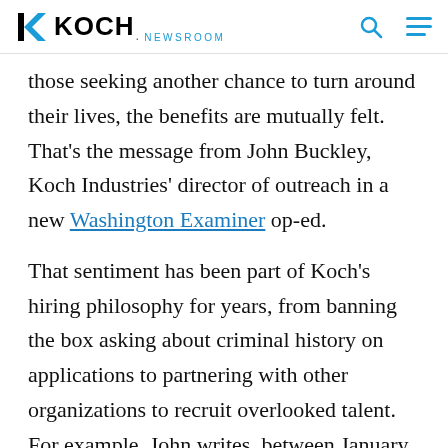KOCH. NEWSROOM
those seeking another chance to turn around their lives, the benefits are mutually felt. That's the message from John Buckley, Koch Industries' director of outreach in a new Washington Examiner op-ed.
That sentiment has been part of Koch's hiring philosophy for years, from banning the box asking about criminal history on applications to partnering with other organizations to recruit overlooked talent. For example, John writes, between January and April 2021, Koch